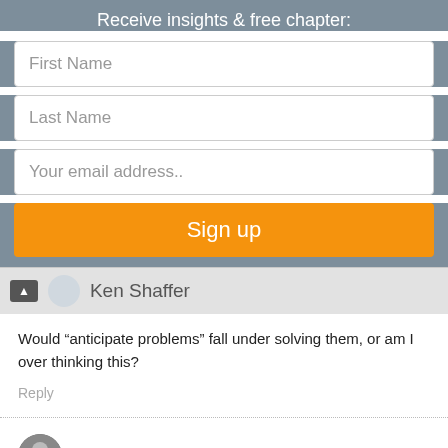Receive insights & free chapter:
First Name
Last Name
Your email address..
Sign up
Ken Shaffer
Would “anticipate problems” fall under solving them, or am I over thinking this?
Reply
Dan Reiland